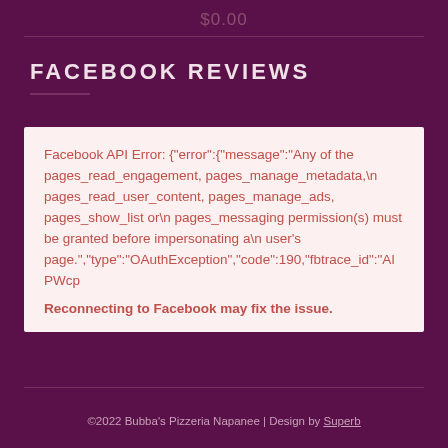$0.00
FACEBOOK REVIEWS
Facebook API Error: {"error":{"message":"Any of the pages_read_engagement, pages_manage_metadata,\n pages_read_user_content, pages_manage_ads, pages_show_list or\n pages_messaging permission(s) must be granted before impersonating a\n user's page.","type":"OAuthException","code":190,"fbtrace_id":"AIPWcp
Reconnecting to Facebook may fix the issue.
©2022 Bubba's Pizzeria Napanee | Design by Superb